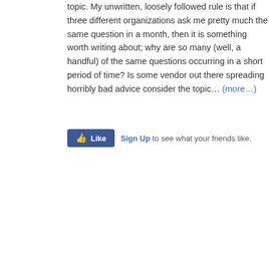topic. My unwritten, loosely followed rule is that if three different organizations ask me pretty much the same question in a month, then it is something worth writing about; why are so many (well, a handful) of the same questions occurring in a short period of time? Is some vendor out there spreading horribly bad advice consider the topic… (more…)
[Figure (other): Facebook Like button widget with Sign Up text]
Tags: awareness, BA, BA Agreement, BA contract, BAA, business associate, compliance, covered entity, data protection, disclosure, HHS, HIPAA, HITECH, incidental, Information Security, infosec, midmarket, non-compliance, OCR, information, personal information identifier, personal information item, PHI, policies, privacy, privacy laws, privacy professor, privacyprof, protected health information, Rebecca Herold, risk assessment, risk management, security, subcontractor, training
Posted in BA, BA and Vendor Management, HIPAA, Privacy and Compliance
Comments »